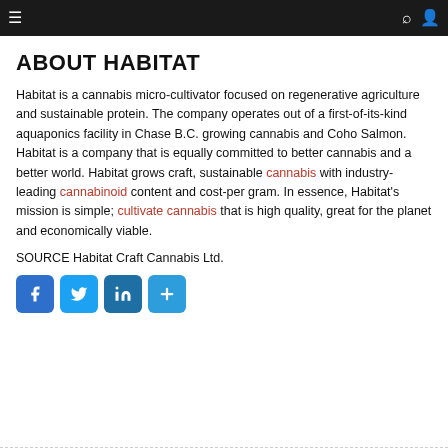Navigation bar with menu, search, and user icons
ABOUT HABITAT
Habitat is a cannabis micro-cultivator focused on regenerative agriculture and sustainable protein. The company operates out of a first-of-its-kind aquaponics facility in Chase B.C. growing cannabis and Coho Salmon. Habitat is a company that is equally committed to better cannabis and a better world. Habitat grows craft, sustainable cannabis with industry-leading cannabinoid content and cost-per gram. In essence, Habitat's mission is simple; cultivate cannabis that is high quality, great for the planet and economically viable.
SOURCE Habitat Craft Cannabis Ltd.
[Figure (infographic): Social sharing icons: Facebook, Twitter, LinkedIn, and a share/plus button]